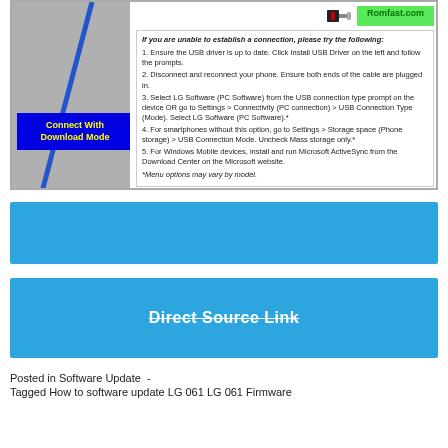[Figure (screenshot): Screenshot of LG Bridge or similar software showing a USB connection interface. Left panel has gray background with blue diagonal line and a yellow-on-blue 'Connect With Download Mode' label. Right panel shows a Romfast.com green button, USB icon, and a troubleshooting section with 5 numbered steps for USB connection issues.]
[Figure (other): Solid blue advertisement/banner bar (empty)]
Direct Source Link
Posted in Software Update  -
Tagged How to software update LG 061 LG 061 Firmware